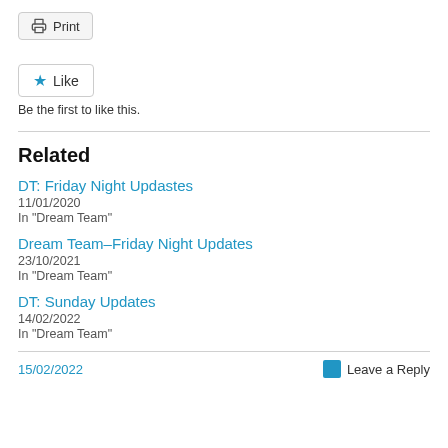[Figure (other): Print button with printer icon]
[Figure (other): Like button with blue star icon]
Be the first to like this.
Related
DT: Friday Night Updastes
11/01/2020
In "Dream Team"
Dream Team–Friday Night Updates
23/10/2021
In "Dream Team"
DT: Sunday Updates
14/02/2022
In "Dream Team"
15/02/2022
Leave a Reply